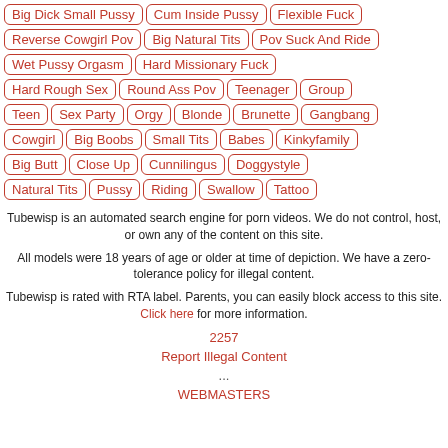Big Dick Small Pussy, Cum Inside Pussy, Flexible Fuck
Reverse Cowgirl Pov, Big Natural Tits, Pov Suck And Ride
Wet Pussy Orgasm, Hard Missionary Fuck
Hard Rough Sex, Round Ass Pov, Teenager, Group
Teen, Sex Party, Orgy, Blonde, Brunette, Gangbang
Cowgirl, Big Boobs, Small Tits, Babes, Kinkyfamily
Big Butt, Close Up, Cunnilingus, Doggystyle
Natural Tits, Pussy, Riding, Swallow, Tattoo
Tubewisp is an automated search engine for porn videos. We do not control, host, or own any of the content on this site.
All models were 18 years of age or older at time of depiction. We have a zero-tolerance policy for illegal content.
Tubewisp is rated with RTA label. Parents, you can easily block access to this site. Click here for more information.
2257
Report Illegal Content
...
WEBMASTERS